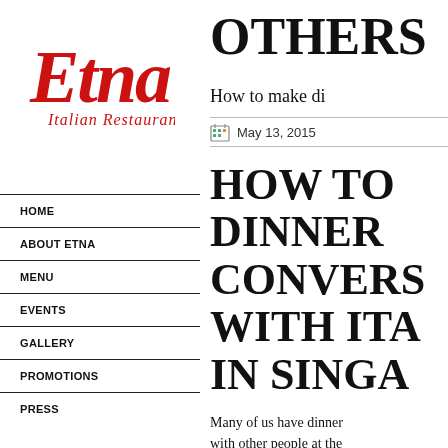[Figure (logo): Etna Italian Restaurant logo in red cursive script]
HOME
ABOUT ETNA
MENU
EVENTS
GALLERY
PROMOTIONS
PRESS
OTHERS
How to make di
May 13, 2015
HOW TO DINNER CONVERS WITH ITA IN SINGA
Many of us have dinner with other people at the